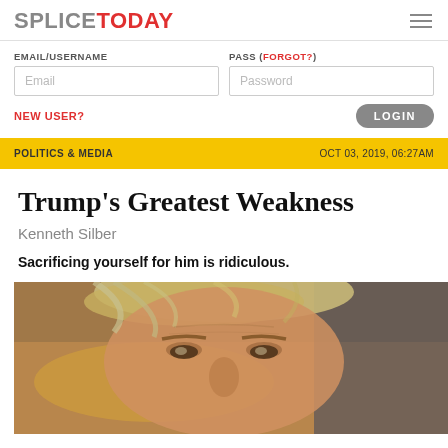SPLICE TODAY
EMAIL/USERNAME
PASS (FORGOT?)
NEW USER?
LOGIN
POLITICS & MEDIA    OCT 03, 2019, 06:27AM
Trump's Greatest Weakness
Kenneth Silber
Sacrificing yourself for him is ridiculous.
[Figure (photo): Close-up photograph of Donald Trump's face, showing grey-blond hair and facial features against a blurred yellow background]